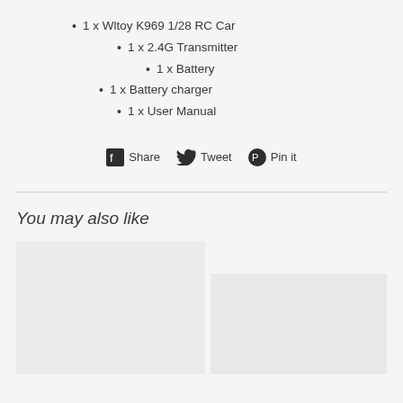1 x Wltoy K969 1/28 RC Car
1 x 2.4G Transmitter
1 x Battery
1 x Battery charger
1 x User Manual
[Figure (infographic): Social sharing bar with Facebook Share, Twitter Tweet, and Pinterest Pin it icons and labels]
You may also like
[Figure (photo): Two product thumbnail placeholder images shown side by side]